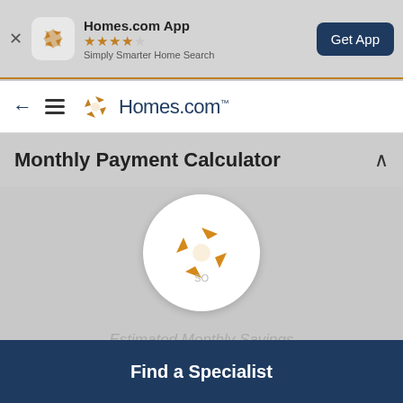Homes.com App — ★★★★☆ — Simply Smarter Home Search — Get App
[Figure (screenshot): Homes.com website navigation bar with back arrow, hamburger menu, and Homes.com logo]
Monthly Payment Calculator
[Figure (logo): Homes.com pinwheel logo in white circle, loading spinner overlay on calculator]
Estimated Monthly Savings
Current Payment   $0
Find a Specialist